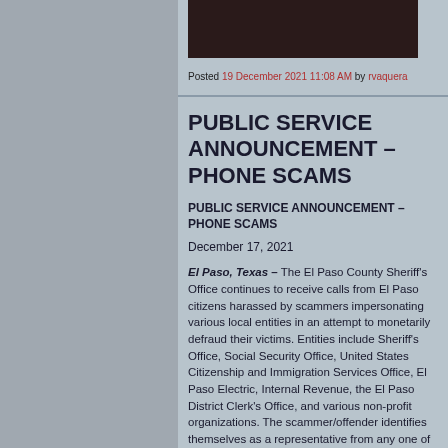[Figure (photo): Partial dark/black image at the top of the content column]
Posted 19 December 2021 11:08 AM by rvaquera
PUBLIC SERVICE ANNOUNCEMENT – PHONE SCAMS
PUBLIC SERVICE ANNOUNCEMENT – PHONE SCAMS
December 17, 2021
El Paso, Texas – The El Paso County Sheriff's Office continues to receive calls from El Paso citizens harassed by scammers impersonating various local entities in an attempt to monetarily defraud their victims. Entities include Sheriff's Office, Social Security Office, United States Citizenship and Immigration Services Office, El Paso Electric, Internal Revenue, the El Paso District Clerk's Office, and various non-profit organizations. The scammer/offender identifies themselves as a representative from any one of these organizations and